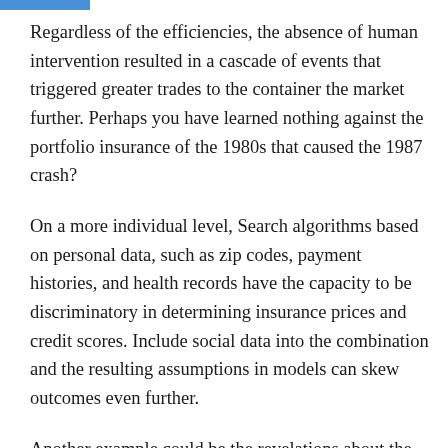Regardless of the efficiencies, the absence of human intervention resulted in a cascade of events that triggered greater trades to the container the market further. Perhaps you have learned nothing against the portfolio insurance of the 1980s that caused the 1987 crash?
On a more individual level, Search algorithms based on personal data, such as zip codes, payment histories, and health records have the capacity to be discriminatory in determining insurance prices and credit scores. Include social data into the combination and the resulting assumptions in models can skew outcomes even further.
Another example could be the revelations about the